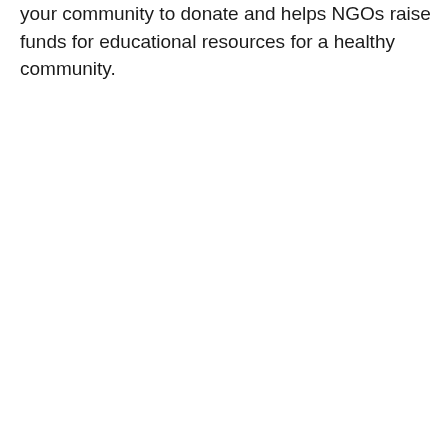your community to donate and helps NGOs raise funds for educational resources for a healthy community.